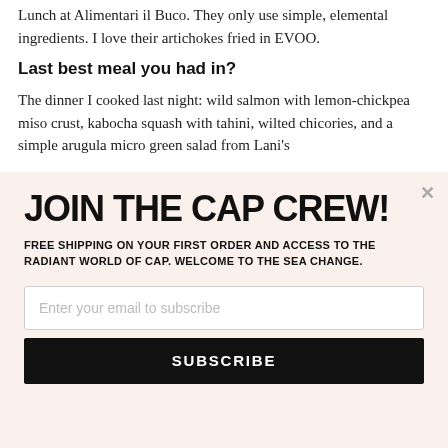Lunch at Alimentari il Buco. They only use simple, elemental ingredients. I love their artichokes fried in EVOO.
Last best meal you had in?
The dinner I cooked last night: wild salmon with lemon-chickpea miso crust, kabocha squash with tahini, wilted chicories, and a simple arugula micro green salad from Lani's
JOIN THE CAP CREW!
FREE SHIPPING ON YOUR FIRST ORDER AND ACCESS TO THE RADIANT WORLD OF CAP. WELCOME TO THE SEA CHANGE.
Enter your email to subscribe
SUBSCRIBE